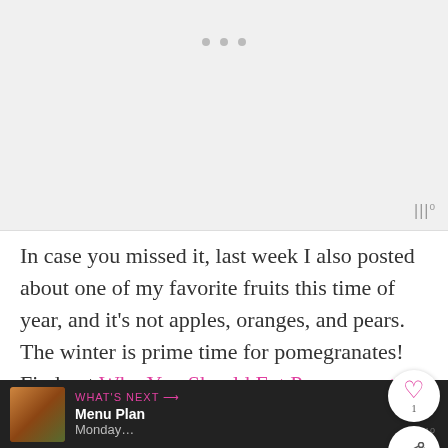[Figure (photo): Large image placeholder with light gray background, three gray dots at top center indicating a carousel, and a watermark/logo in bottom right corner]
In case you missed it, last week I also posted about one of my favorite fruits this time of year, and it's not apples, oranges, and pears. The winter is prime time for pomegranates! Find out Why You Should Eat Pomegranates and get inspired to eat them with the 20 healthy recipes to try in my pomegranate roundup!
[Figure (screenshot): Bottom navigation bar showing WHAT'S NEXT arrow, Menu Plan Monday... text with a thumbnail image, and a watermark logo]